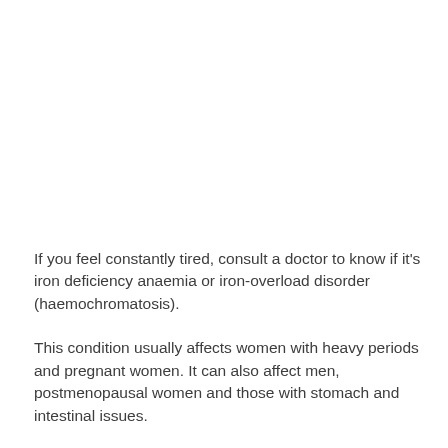If you feel constantly tired, consult a doctor to know if it's iron deficiency anaemia or iron-overload disorder (haemochromatosis).
This condition usually affects women with heavy periods and pregnant women. It can also affect men, postmenopausal women and those with stomach and intestinal issues.